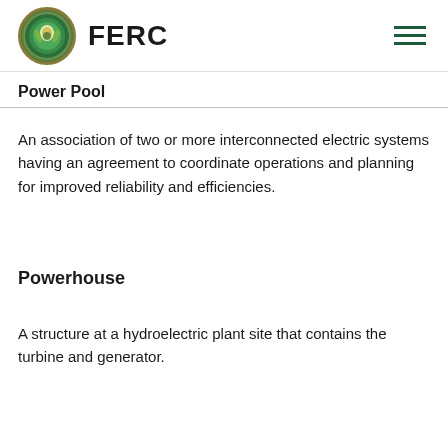FERC
Power Pool
An association of two or more interconnected electric systems having an agreement to coordinate operations and planning for improved reliability and efficiencies.
Powerhouse
A structure at a hydroelectric plant site that contains the turbine and generator.